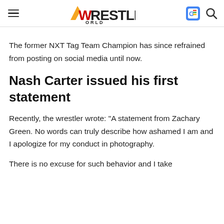Wrestling World
The former NXT Tag Team Champion has since refrained from posting on social media until now.
Nash Carter issued his first statement
Recently, the wrestler wrote: "A statement from Zachary Green. No words can truly describe how ashamed I am and I apologize for my conduct in photography.
There is no excuse for such behavior and I take